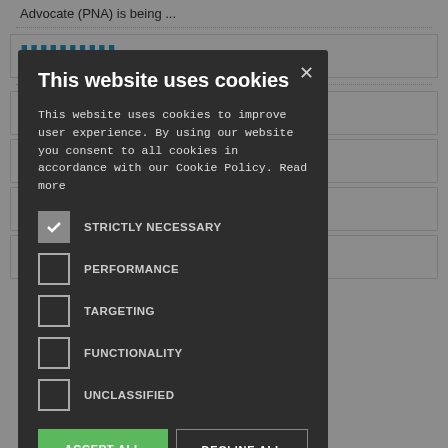Advocate (PNA) is being ...
...on general
... ... e Black Lives
...ealed that
Understanding Cow's Milk Protein Allergy In ...
[Figure (screenshot): Cookie consent modal dialog with dark background overlay. Title: 'This website uses cookies'. Body text explains cookie usage. Checkboxes for: STRICTLY NECESSARY (checked), PERFORMANCE (unchecked), TARGETING (unchecked), FUNCTIONALITY (unchecked), UNCLASSIFIED (unchecked). Buttons: ACCEPT ALL (green), DECLINE ALL (outlined). SHOW DETAILS link at bottom.]